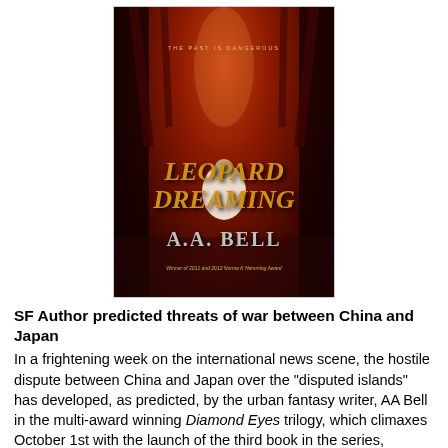[Figure (photo): Book cover of 'Leopard Dreaming' by A.A. Bell. Dark red-toned forest scene with a figure in white dress. Text reads: 'THE PAST IS DANGEROUS', 'LEOPARD DREAMING', 'A.A. BELL', 'Winner of 2011 and 2012 Norma K Hemming Award']
SF Author predicted threats of war between China and Japan
In a frightening week on the international news scene, the hostile dispute between China and Japan over the "disputed islands" has developed, as predicted, by the urban fantasy writer, AA Bell in the multi-award winning Diamond Eyes trilogy, which climaxes October 1st with the launch of the third book in the series, Leopard Dreaming. (Published by Harper Voyager).